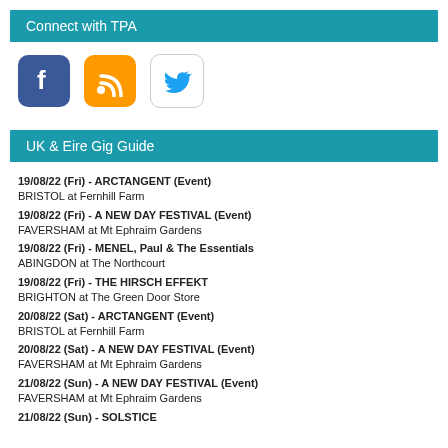Connect with TPA
[Figure (illustration): Three social media icons: Facebook (blue rounded square with f), RSS feed (orange rounded square with wifi/signal icon), Twitter (white rounded square with blue bird)]
UK & Eire Gig Guide
19/08/22 (Fri) - ARCTANGENT (Event)
BRISTOL at Fernhill Farm
19/08/22 (Fri) - A NEW DAY FESTIVAL (Event)
FAVERSHAM at Mt Ephraim Gardens
19/08/22 (Fri) - MENEL, Paul & The Essentials
ABINGDON at The Northcourt
19/08/22 (Fri) - THE HIRSCH EFFEKT
BRIGHTON at The Green Door Store
20/08/22 (Sat) - ARCTANGENT (Event)
BRISTOL at Fernhill Farm
20/08/22 (Sat) - A NEW DAY FESTIVAL (Event)
FAVERSHAM at Mt Ephraim Gardens
21/08/22 (Sun) - A NEW DAY FESTIVAL (Event)
FAVERSHAM at Mt Ephraim Gardens
21/08/22 (Sun) - SOLSTICE